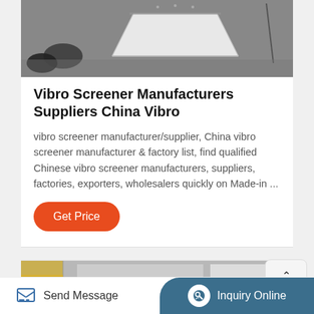[Figure (photo): Photo of construction/engineering materials on a surface, dark rolled items and a white angular structure]
Vibro Screener Manufacturers Suppliers China Vibro
vibro screener manufacturer/supplier, China vibro screener manufacturer & factory list, find qualified Chinese vibro screener manufacturers, suppliers, factories, exporters, wholesalers quickly on Made-in ...
[Figure (photo): Photo of an industrial building exterior with yellow crane structure]
Send Message  Inquiry Online